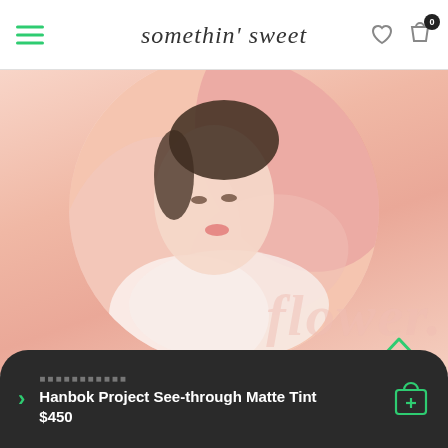somethin' sweet
[Figure (photo): A young East Asian woman wearing a pink hanbok (traditional Korean dress), with large pink fabric forming a circular frame around her. She looks downward with a serene expression. The word 'flower' is overlaid in semi-transparent text at the bottom right of the image.]
🟩🟩🟩🟩🟩🟩🟩🟩🟩🟩🟩
Hanbok Project See-through Matte Tint
$450